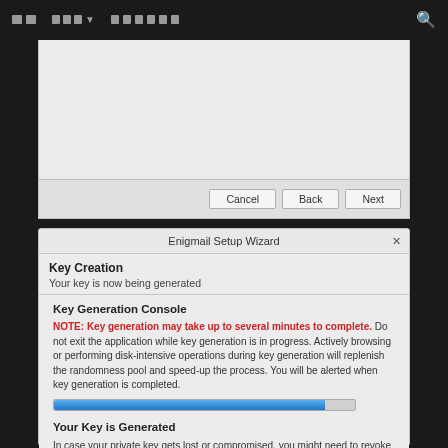Navigation bar with icons and search
[Figure (screenshot): Upper dialog with Cancel, Back, Next buttons at bottom]
[Figure (screenshot): Enigmail Setup Wizard dialog showing Key Creation and Key Generation Console with progress bar and Your Key is Generated section with Create Revocation Certificate button]